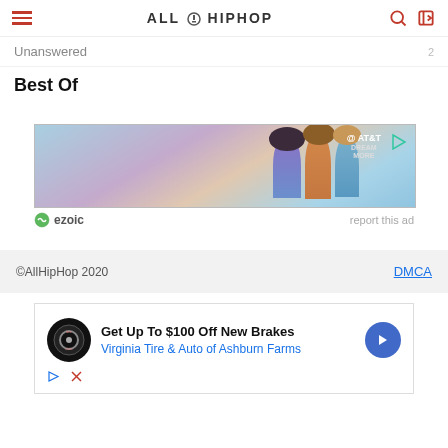AllHipHop
Unanswered
Best Of
[Figure (infographic): AT&T advertisement banner showing three women with colorful hair and clothing on a sandy background with AT&T logo and DreamMore text]
ezoic   report this ad
©AllHipHop 2020   DMCA
[Figure (infographic): Virginia Tire & Auto advertisement - Get Up To $100 Off New Brakes, Virginia Tire & Auto of Ashburn Farms]